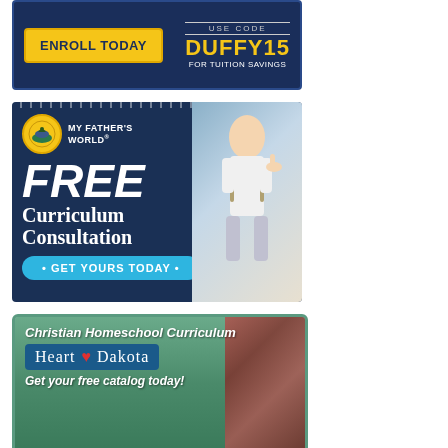[Figure (infographic): Advertisement banner: dark navy background with yellow 'ENROLL TODAY' button on left and 'USE CODE DUFFY15 FOR TUITION SAVINGS' text on right in yellow/white]
[Figure (infographic): My Father's World advertisement: navy background with logo, 'FREE Curriculum Consultation' text, child giving thumbs up, and 'GET YOURS TODAY' teal button]
[Figure (infographic): Heart of Dakota Christian Homeschool Curriculum advertisement: green background with quilt imagery, 'Christian Homeschool Curriculum', 'Heart of Dakota' logo box, and 'Get your free catalog today!' text]